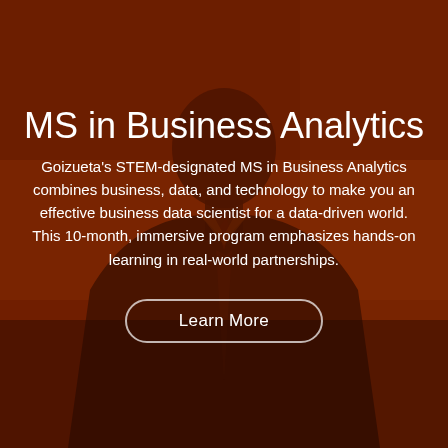[Figure (photo): A person in a dark suit and tie photographed from chest up against a dark background, with a deep reddish-brown color overlay covering the entire image.]
MS in Business Analytics
Goizueta's STEM-designated MS in Business Analytics combines business, data, and technology to make you an effective business data scientist for a data-driven world. This 10-month, immersive program emphasizes hands-on learning in real-world partnerships.
Learn More